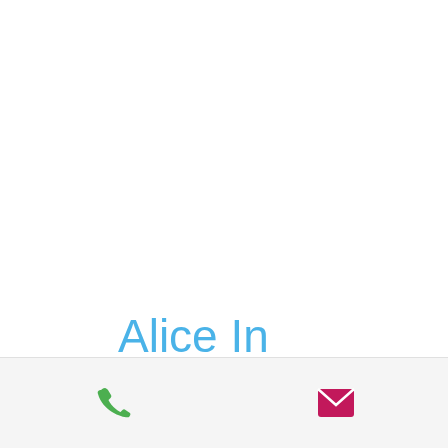Alice In Wonderland 8" Round Edible
[Figure (other): Bottom navigation bar with a green phone icon and a pink/red envelope/email icon on a light grey background]